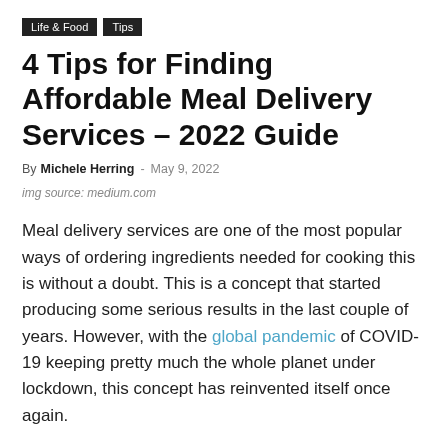Life & Food  Tips
4 Tips for Finding Affordable Meal Delivery Services – 2022 Guide
By Michele Herring - May 9, 2022
img source: medium.com
Meal delivery services are one of the most popular ways of ordering ingredients needed for cooking this is without a doubt. This is a concept that started producing some serious results in the last couple of years. However, with the global pandemic of COVID-19 keeping pretty much the whole planet under lockdown, this concept has reinvented itself once again.